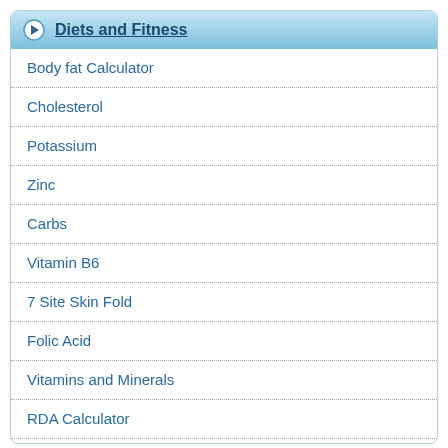Diets and Fitness
Body fat Calculator
Cholesterol
Potassium
Zinc
Carbs
Vitamin B6
7 Site Skin Fold
Folic Acid
Vitamins and Minerals
RDA Calculator
Calories Burned Calculator
Fitness Vacations
Low Fat Recipes
101 Low Fat Diet Tips